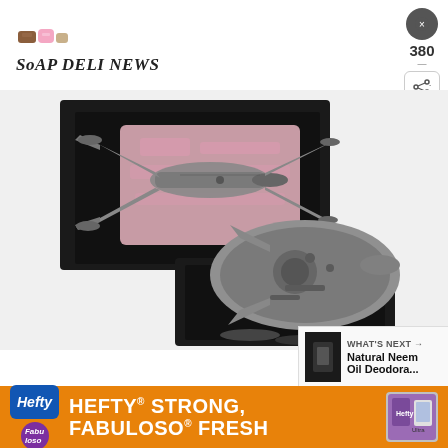Soap Deli News
[Figure (photo): Star Wars spacecraft soap models: an X-Wing fighter in a black gift box with pink foam, and a Millennium Falcon on a black box pedestal, both rendered in metallic grey soap]
WHAT'S NEXT → Natural Neem Oil Deodora...
[Figure (photo): Advertisement: Hefty STRONG, Fabuloso FRESH brand ad with orange background, Hefty blue logo, Fabuloso purple logo, and product packaging on the right]